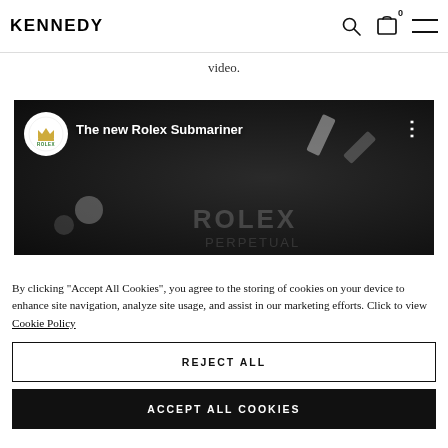KENNEDY
video.
[Figure (screenshot): YouTube video thumbnail for 'The new Rolex Submariner' with Rolex logo avatar on dark watch background]
By clicking "Accept All Cookies", you agree to the storing of cookies on your device to enhance site navigation, analyze site usage, and assist in our marketing efforts. Click to view Cookie Policy
REJECT ALL
ACCEPT ALL COOKIES